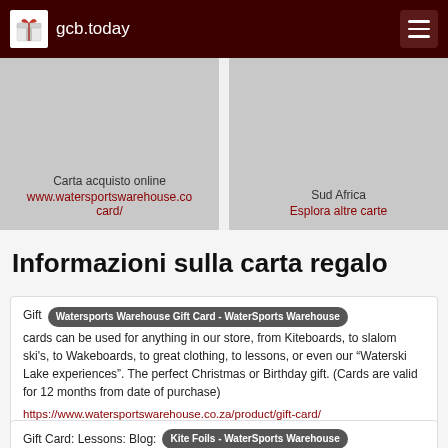gcb.today
[Figure (screenshot): Two gift card preview blocks side by side: left block shows 'Carta acquisto online' with link 'www.watersportswarehouse.co card/', right block shows 'Sud Africa' with link 'Esplora altre carte']
Informazioni sulla carta regalo
Gift Watersports Warehouse Gift Card - WaterSports Warehouse cards can be used for anything in our store, from Kiteboards, to slalom ski's, to Wakeboards, to great clothing, to lessons, or even our "Waterski Lake experiences". The perfect Christmas or Birthday gift. (Cards are valid for 12 months from date of purchase)
https://www.watersportswarehouse.co.za/product/gift-card/
Gift Card: Lessons: Blog: Kite Foils - WaterSports Warehouse